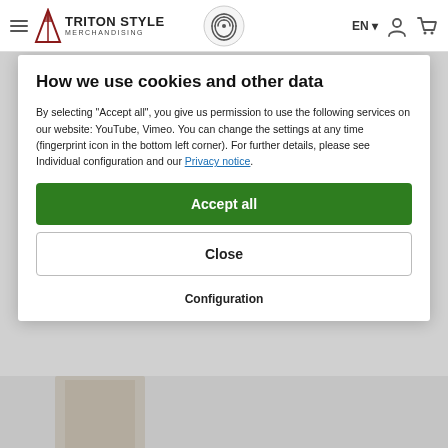Triton Style Merchandising — EN — navigation header with hamburger menu, fingerprint icon, language selector, user icon, cart icon
How we use cookies and other data
By selecting "Accept all", you give us permission to use the following services on our website: YouTube, Vimeo. You can change the settings at any time (fingerprint icon in the bottom left corner). For further details, please see Individual configuration and our Privacy notice.
Accept all
Close
Configuration